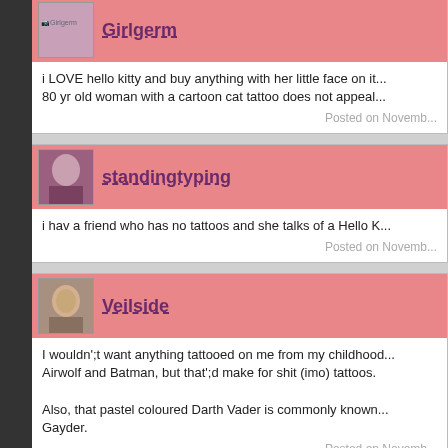Girlgerm
i LOVE hello kitty and buy anything with her little face on it... 80 yr old woman with a cartoon cat tattoo does not appeal...
Posted on Novemb...
standingtyping
i hav a friend who has no tattoos and she talks of a Hello K...
Posted on Novemb...
Veilside
I wouldn';t want anything tattooed on me from my childhood... Airwolf and Batman, but that';d make for shit (imo) tattoos.

Also, that pastel coloured Darth Vader is commonly known... Gayder.
Posted on Novemb...
littlebeans